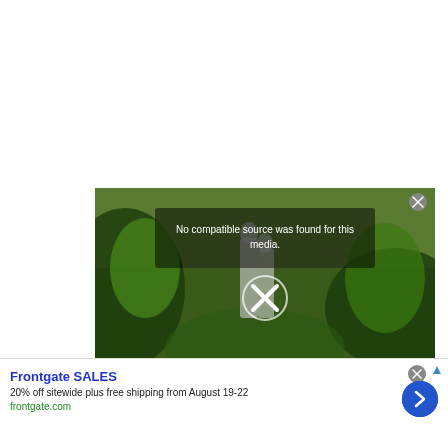[Figure (screenshot): Video player showing a tropical garden scene with a couple. An error message reads 'No compatible source was found for this media.' with an X play button overlay and a close button in the top right corner.]
Frontgate SALES
20% off sitewide plus free shipping from August 19-22
frontgate.com